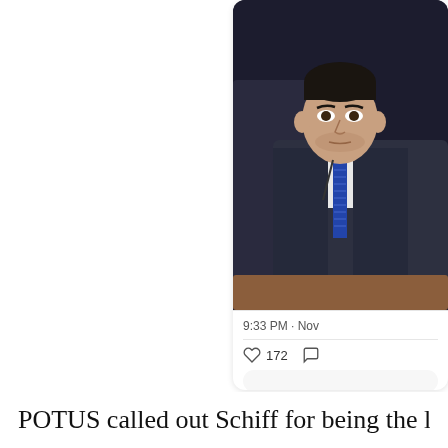[Figure (screenshot): Partial screenshot of a tweet showing a man in a dark suit with a blue striped tie sitting at what appears to be a hearing or press conference. Below the image are tweet metadata: time '9:33 PM · Nov', like count '172', and a reply box. The tweet card is positioned in the upper right of the page.]
POTUS called out Schiff for being the lying [in ×